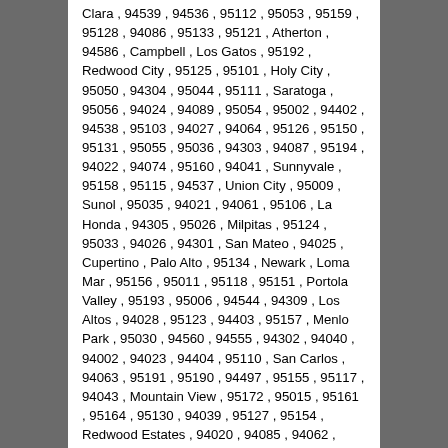Clara , 94539 , 94536 , 95112 , 95053 , 95159 , 95128 , 94086 , 95133 , 95121 , Atherton , 94586 , Campbell , Los Gatos , 95192 , Redwood City , 95125 , 95101 , Holy City , 95050 , 94304 , 95044 , 95111 , Saratoga , 95056 , 94024 , 94089 , 95054 , 95002 , 94402 , 94538 , 95103 , 94027 , 94064 , 95126 , 95150 , 95131 , 95055 , 95036 , 94303 , 94087 , 95194 , 94022 , 94074 , 95160 , 94041 , Sunnyvale , 95158 , 95115 , 94537 , Union City , 95009 , Sunol , 95035 , 94021 , 94061 , 95106 , La Honda , 94305 , 95026 , Milpitas , 95124 , 95033 , 94026 , 94301 , San Mateo , 94025 , Cupertino , Palo Alto , 95134 , Newark , Loma Mar , 95156 , 95011 , 95118 , 95151 , Portola Valley , 95193 , 95006 , 94544 , 94309 , Los Altos , 94028 , 95123 , 94403 , 95157 , Menlo Park , 95030 , 94560 , 94555 , 94302 , 94040 , 94002 , 94023 , 94404 , 95110 , San Carlos , 94063 , 95191 , 95190 , 94497 , 95155 , 95117 , 94043 , Mountain View , 95172 , 95015 , 95161 , 95164 , 95130 , 94039 , 95127 , 95154 , Redwood Estates , 94020 , 94085 , 94062 , 94545 , 95153 , 95116 , 94065 , 95173 , 95196 , San Gregorio ,